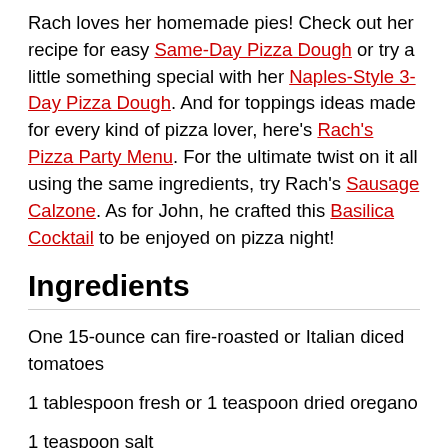Rach loves her homemade pies! Check out her recipe for easy Same-Day Pizza Dough or try a little something special with her Naples-Style 3-Day Pizza Dough. And for toppings ideas made for every kind of pizza lover, here's Rach's Pizza Party Menu. For the ultimate twist on it all using the same ingredients, try Rach's Sausage Calzone. As for John, he crafted this Basilica Cocktail to be enjoyed on pizza night!
Ingredients
One 15-ounce can fire-roasted or Italian diced tomatoes
1 tablespoon fresh or 1 teaspoon dried oregano
1 teaspoon salt